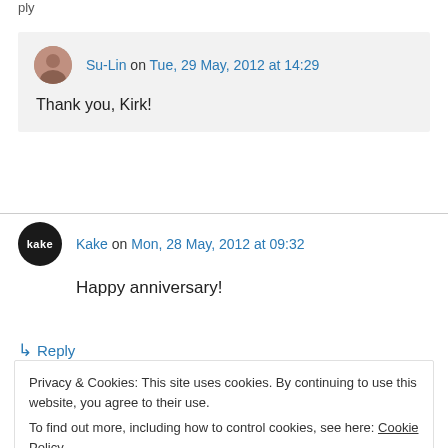Reply
Su-Lin on Tue, 29 May, 2012 at 14:29
Thank you, Kirk!
Kake on Mon, 28 May, 2012 at 09:32
Happy anniversary!
↳ Reply
Privacy & Cookies: This site uses cookies. By continuing to use this website, you agree to their use.
To find out more, including how to control cookies, see here: Cookie Policy
Close and accept